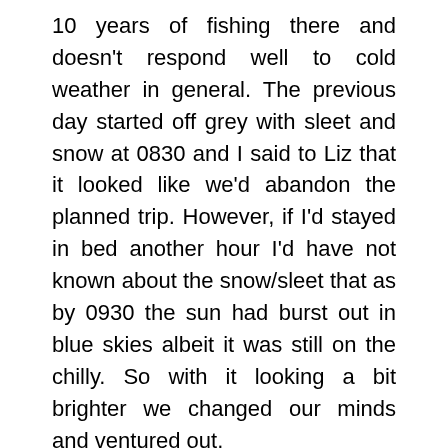10 years of fishing there and doesn't respond well to cold weather in general. The previous day started off grey with sleet and snow at 0830 and I said to Liz that it looked like we'd abandon the planned trip. However, if I'd stayed in bed another hour I'd have not known about the snow/sleet that as by 0930 the sun had burst out in blue skies albeit it was still on the chilly. So with it looking a bit brighter we changed our minds and ventured out.
Initially, the weather wasn't bad at all and was quite mild with very little breeze – and when the sun reached blue skies it was quite pleasant. The forecast was for what little breeze there was to be west-south-westerly but in practice it seemed